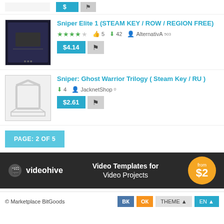[Figure (screenshot): Top partial product listing with price buttons visible at top]
[Figure (photo): Sniper Elite 1 game product listing with image, title, stars, meta and price button]
Sniper Elite 1 (STEAM KEY / ROW / REGION FREE)
★★★★☆  👍 5  ⬇ 42  👤 AlternativA 503
$4.14
[Figure (screenshot): Sniper Ghost Warrior Trilogy product listing with box icon placeholder]
Sniper: Ghost Warrior Trilogy ( Steam Key / RU )
⬇ 4  👤 JacknetShop 0
$2.61
PAGE: 2 OF 5
[Figure (infographic): Videohive advertisement banner: Video Templates for Video Projects, from $2]
© Marketplace BitGoods
THEME ▲  EN ▲